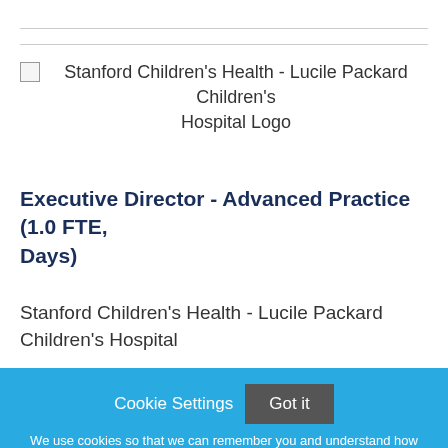[Figure (logo): Stanford Children's Health - Lucile Packard Children's Hospital Logo (broken image placeholder)]
Executive Director - Advanced Practice (1.0 FTE, Days)
Stanford Children's Health - Lucile Packard Children's Hospital
Cookie Settings  Got it
We use cookies so that we can remember you and understand how you use our site. If you do not agree with our use of cookies, please change the current settings found in our Cookie Policy. Otherwise, you agree to the use of the cookies as they are currently set.